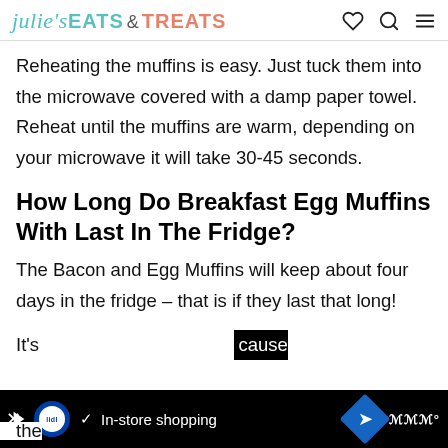julie's EATS & TREATS
Reheating the muffins is easy. Just tuck them into the microwave covered with a damp paper towel. Reheat until the muffins are warm, depending on your microwave it will take 30-45 seconds.
How Long Do Breakfast Egg Muffins With Last In The Fridge?
The Bacon and Egg Muffins will keep about four days in the fridge – that is if they last that long!
It's ... cause the ...